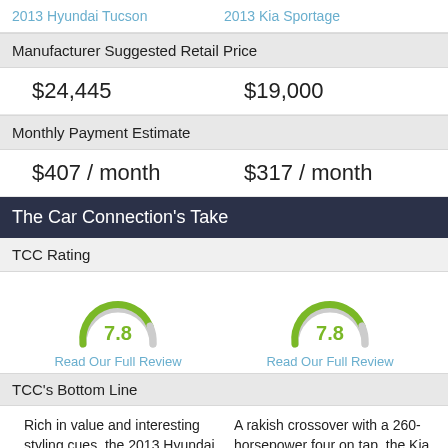2013 Hyundai Tucson    2013 Kia Sportage
Manufacturer Suggested Retail Price
| 2013 Hyundai Tucson | 2013 Kia Sportage |
| --- | --- |
| $24,445 | $19,000 |
Monthly Payment Estimate
| 2013 Hyundai Tucson | 2013 Kia Sportage |
| --- | --- |
| $407 / month | $317 / month |
The Car Connection's Take
TCC Rating
[Figure (other): Two gauge/donut style rating meters, both showing 7.8, with green arc on grey background]
Read Our Full Review    Read Our Full Review
TCC's Bottom Line
Rich in value and interesting styling cues, the 2013 Hyundai Tucson's a
A rakish crossover with a 260-horsepower four on tap, the Kia Sportage reboots its